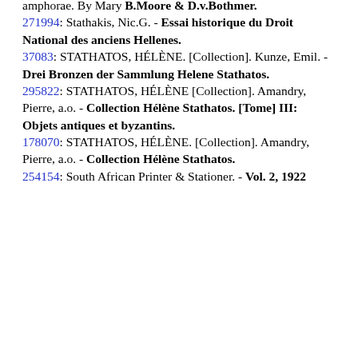amphorae. By Mary B.Moore & D.v.Bothmer.
271994: Stathakis, Nic.G. - Essai historique du Droit National des anciens Hellenes.
37083: STATHATOS, HÉLÈNE. [Collection]. Kunze, Emil. - Drei Bronzen der Sammlung Helene Stathatos.
295822: STATHATOS, HÉLÈNE [Collection]. Amandry, Pierre, a.o. - Collection Hélène Stathatos. [Tome] III: Objets antiques et byzantins.
178070: STATHATOS, HÉLÈNE. [Collection]. Amandry, Pierre, a.o. - Collection Hélène Stathatos.
254154: South African Printer & Stationer. - Vol. 2, 1922